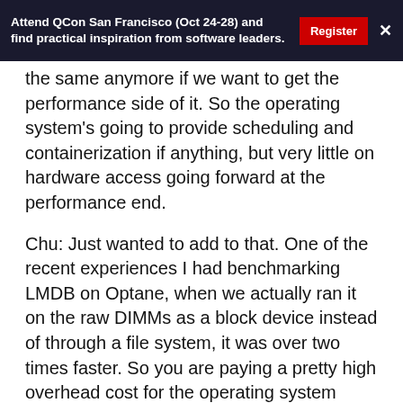Attend QCon San Francisco (Oct 24-28) and find practical inspiration from software leaders. Register ×
the same anymore if we want to get the performance side of it. So the operating system's going to provide scheduling and containerization if anything, but very little on hardware access going forward at the performance end.
Chu: Just wanted to add to that. One of the recent experiences I had benchmarking LMDB on Optane, when we actually ran it on the raw DIMMs as a block device instead of through a file system, it was over two times faster. So you are paying a pretty high overhead cost for the operating system providing you services. If you don't actually need the OS to give you those services, yes, it becomes irrelevant.
Moderator: Do we have any other questions?